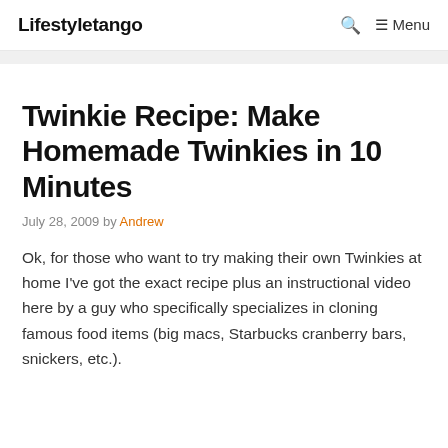Lifestyletango   🔍   ≡ Menu
Twinkie Recipe: Make Homemade Twinkies in 10 Minutes
July 28, 2009 by Andrew
Ok, for those who want to try making their own Twinkies at home I've got the exact recipe plus an instructional video here by a guy who specifically specializes in cloning famous food items (big macs, Starbucks cranberry bars, snickers, etc.).